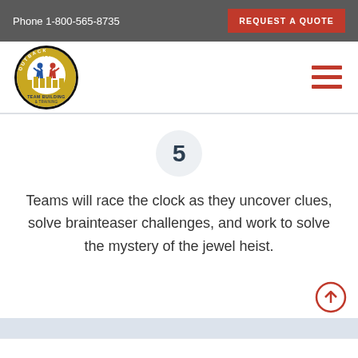Phone 1-800-565-8735  |  REQUEST A QUOTE
[Figure (logo): Outback Team Building & Training circular logo with figures and text]
5
Teams will race the clock as they uncover clues, solve brainteaser challenges, and work to solve the mystery of the jewel heist.